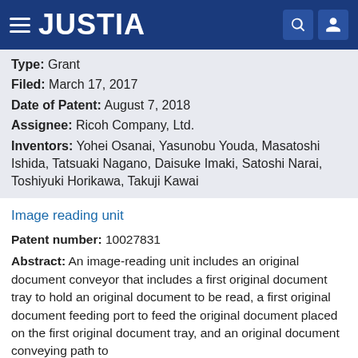JUSTIA
Type: Grant
Filed: March 17, 2017
Date of Patent: August 7, 2018
Assignee: Ricoh Company, Ltd.
Inventors: Yohei Osanai, Yasunobu Youda, Masatoshi Ishida, Tatsuaki Nagano, Daisuke Imaki, Satoshi Narai, Toshiyuki Horikawa, Takuji Kawai
Image reading unit
Patent number: 10027831
Abstract: An image-reading unit includes an original document conveyor that includes a first original document tray to hold an original document to be read, a first original document feeding port to feed the original document placed on the first original document tray, and an original document conveying path to